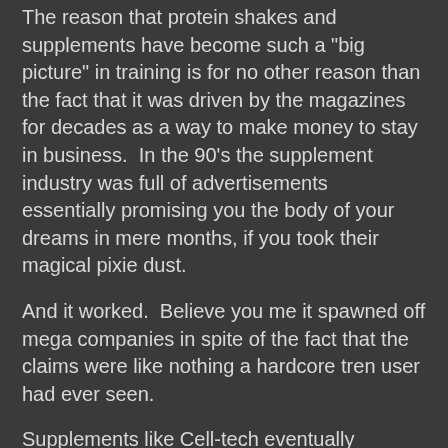The reason that protein shakes and supplements have become such a "big picture" in training is for no other reason than the fact that it was driven by the magazines for decades as a way to make money to stay in business.  In the 90's the supplement industry was full of advertisements essentially promising you the body of your dreams in mere months, if you took their magical pixie dust.
And it worked.  Believe you me it spawned off mega companies in spite of the fact that the claims were like nothing a hardcore tren user had ever seen.
Supplements like Cell-tech eventually became a punch line for this very reason.  It seems comical now to think about ads where they said some guy lost 33 pounds of fat and gained 22 pounds of muscle in 4 months but those kinds of claims were very common back in the day.
The Cybergenics poster boy was this guy named Franco Santoriello, and one of their two page ads was photos of him throughout his "transformation" while being on Cybergenics.  Basically implying that his evolution from not so jacked